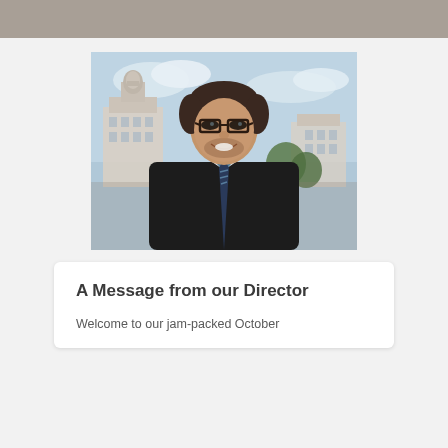[Figure (photo): Professional headshot of a man wearing glasses, a dark blazer, white shirt, and a blue and black striped tie. He is smiling. The background shows an outdoor scene with a classical building (resembling the US Capitol) and sky with clouds.]
A Message from our Director
Welcome to our jam-packed October